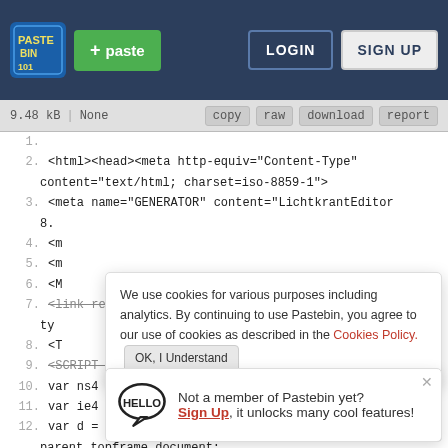Pastebin header with logo, + paste button, LOGIN and SIGN UP buttons
9.48 kB | None | copy | raw | download | report
1.
2.  <html><head><meta http-equiv="Content-Type"
content="text/html; charset=iso-8859-1">
3.  <meta name="GENERATOR" content="LichtkrantEditor
8.
4.  <m
5.  <m
6.  <M
7.  <link rel="stylesheet" href="lk_style.css"
ty
8.  <T
9.  <SCRIPT LANGUAGE="JavaScript">
10. var ns4 = (document.layers)? true:false;
11. var ie4 = (document.all)? true:false;
12. var d = parent.output.document,t =
parent.topframe.document;
We use cookies for various purposes including analytics. By continuing to use Pastebin, you agree to our use of cookies as described in the Cookies Policy. OK, I Understand
Not a member of Pastebin yet? Sign Up, it unlocks many cool features!